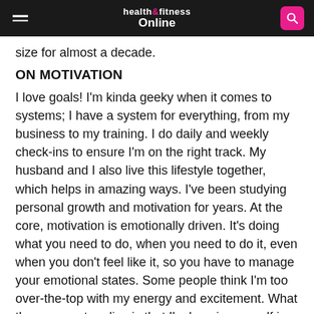health&fitness Online
size for almost a decade.
ON MOTIVATION
I love goals! I'm kinda geeky when it comes to systems; I have a system for everything, from my business to my training. I do daily and weekly check-ins to ensure I'm on the right track. My husband and I also live this lifestyle together, which helps in amazing ways. I've been studying personal growth and motivation for years. At the core, motivation is emotionally driven. It's doing what you need to do, when you need to do it, even when you don't feel like it, so you have to manage your emotional states. Some people think I'm too over-the-top with my energy and excitement. What they may not realise is that I'm keeping myself in the zone – I surround